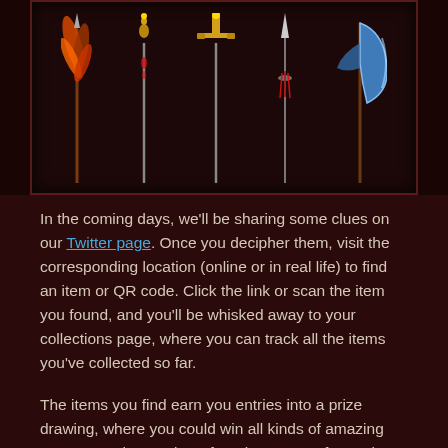[Figure (illustration): Dark fantasy game weapons displayed on dark background inside a decorative frame: a feathered spear, an ornate wand, a golden cross/trophy, a slender needle/lance, and a blue axe]
In the coming days, we'll be sharing some clues on our Twitter page. Once you decipher them, visit the corresponding location (online or in real life) to find an item or QR code. Click the link or scan the item you found, and you'll be whisked away to your collections page, where you can track all the items you've collected so far.
The items you find earn you entries into a prize drawing, where you could win all kinds of amazing treasures. The number of entries you get for each item you find varies on its quality, so keep an eye out